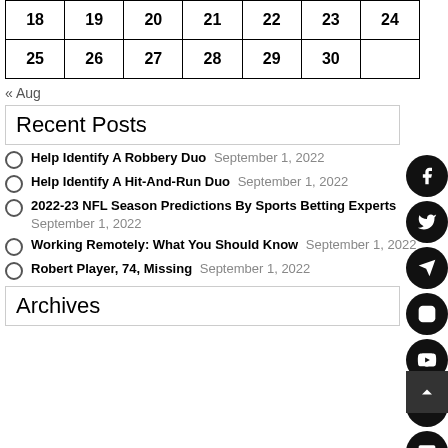| 18 | 19 | 20 | 21 | 22 | 23 | 24 |
| 25 | 26 | 27 | 28 | 29 | 30 |  |
« Aug
Recent Posts
Help Identify A Robbery Duo September 1, 2022
Help Identify A Hit-And-Run Duo September 1, 2022
2022-23 NFL Season Predictions By Sports Betting Experts September 1, 2022
Working Remotely: What You Should Know September 1, 2022
Robert Player, 74, Missing September 1, 2022
Archives